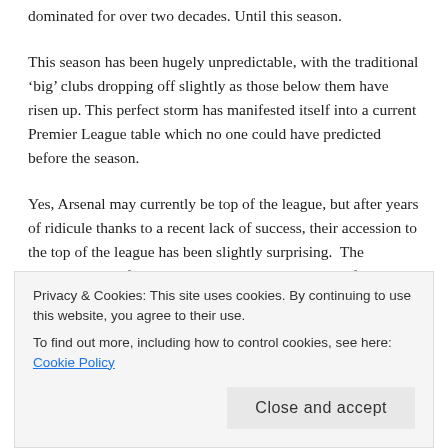dominated for over two decades. Until this season.
This season has been hugely unpredictable, with the traditional ‘big’ clubs dropping off slightly as those below them have risen up. This perfect storm has manifested itself into a current Premier League table which no one could have predicted before the season.
Yes, Arsenal may currently be top of the league, but after years of ridicule thanks to a recent lack of success, their accession to the top of the league has been slightly surprising. The London’s clubs fortunes this season pale into insignificance thanks to the sterling performances of lowly Leicester City. The team that produced a miracle to stay up last season have been Premier League leaders for a huge portion of the season, currently sitting second in the league,
Privacy & Cookies: This site uses cookies. By continuing to use this website, you agree to their use.
To find out more, including how to control cookies, see here: Cookie Policy
Close and accept